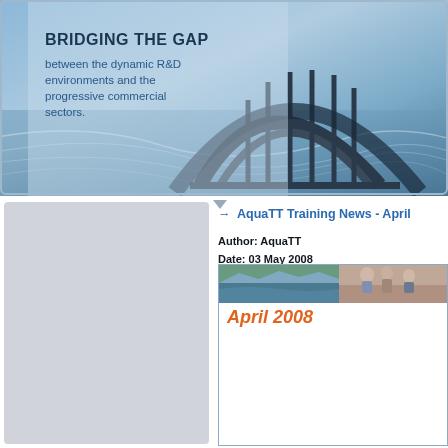[Figure (photo): Header banner with bridge architecture photo and overlaid text reading 'BRIDGING THE GAP between the dynamic R&D environments and the progressive commercial sectors.' Blue toned image with sweeping wave design elements.]
BRIDGING THE GAP
between the dynamic R&D environments and the progressive commercial sectors.
Menu
Home
Who We Are
Our Projects
FP7
Services
Newsletter
Calendar
Contact Us
Join our Mailing List
AquaTT Training News - April
Author: AquaTT
Date: 03 May 2008
[Figure (photo): A strip photo showing landscape and people scenes]
April 2008